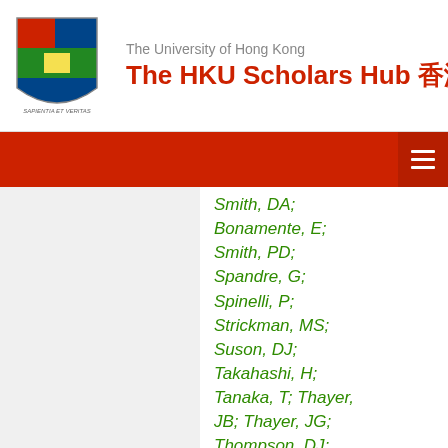The University of Hong Kong — The HKU Scholars Hub 香港大學學術庫
Smith, DA; Bonamente, E; Smith, PD; Spandre, G; Spinelli, P; Strickman, MS; Suson, DJ; Takahashi, H; Tanaka, T; Thayer, JB; Thayer, JG; Thompson, DJ; Borgland, AW; Tibaldo, L; Torres, DF; Tosti, G; Tramacere, A; Uchiyama, Y; Usher, TL; Vasileiou, V;